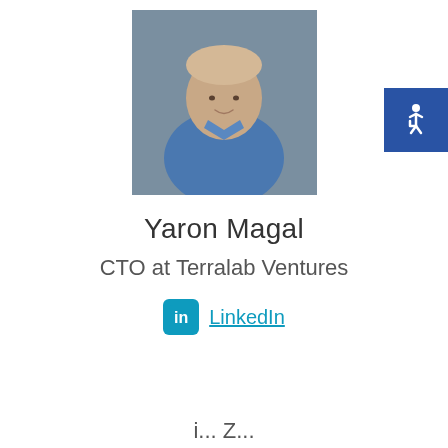[Figure (photo): Headshot of Yaron Magal, a man wearing a blue shirt, photographed against a gray background.]
Yaron Magal
CTO at Terralab Ventures
LinkedIn
[Figure (logo): Accessibility icon button — white wheelchair symbol on a blue square background, positioned at top right corner.]
i... Z...